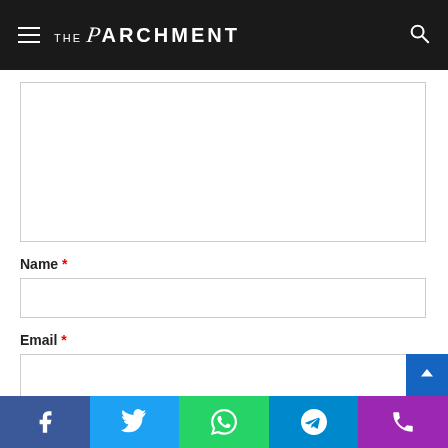THE PARCHMENT
[Figure (screenshot): Empty white textarea / comment input box with thin border]
Name *
[Figure (screenshot): Empty text input field for Name with thin border]
Email *
[Figure (screenshot): Empty text input field for Email with thin border]
Social share buttons: Facebook, Twitter, WhatsApp, Telegram, Phone